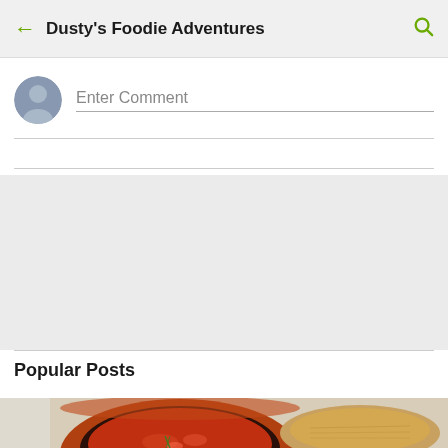Dusty's Foodie Adventures
Enter Comment
[Figure (photo): Food photo showing a terracotta bowl filled with a reddish stew or soup with herbs, accompanied by what appears to be bread or another food item on the right side, set against a light background.]